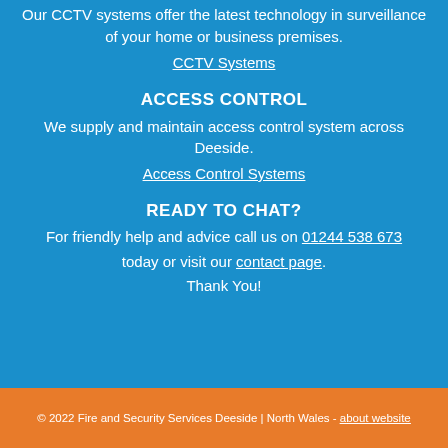Our CCTV systems offer the latest technology in surveillance of your home or business premises.
CCTV Systems
ACCESS CONTROL
We supply and maintain access control system across Deeside.
Access Control Systems
READY TO CHAT?
For friendly help and advice call us on 01244 538 673 today or visit our contact page.
Thank You!
© 2022 Fire and Security Services Deeside | North Wales - about website